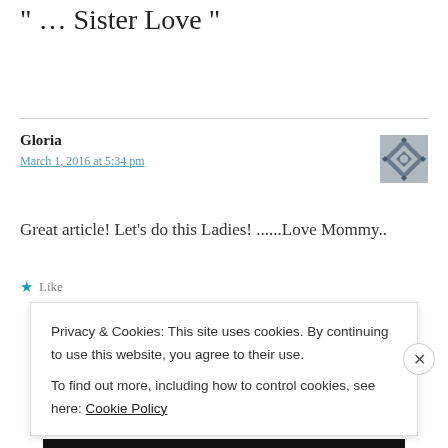“… Sister Love ”
Gloria
March 1, 2016 at 5:34 pm
Great article! Let’s do this Ladies! ......Love Mommy..
★ Like
Privacy & Cookies: This site uses cookies. By continuing to use this website, you agree to their use.
To find out more, including how to control cookies, see here: Cookie Policy
Close and accept